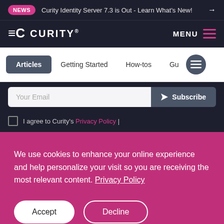NEWS  Curity Identity Server 7.3 is Out - Learn What's New!  →
[Figure (logo): Curity logo with stylized C icon and wordmark CURITY® on dark background, with MENU hamburger button on the right]
Articles  Getting Started  How-tos  Gu  [menu icon]
Your Email  Subscribe
I agree to Curity's Privacy Policy |
We use cookies to enhance your online experience and help personalize your visit so you are receiving the most relevant content. Privacy Policy
Accept  Decline